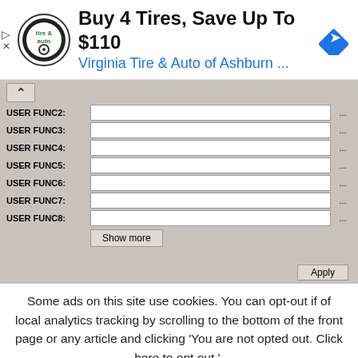[Figure (screenshot): Advertisement banner: circular logo for Virginia Tire & Auto, bold headline 'Buy 4 Tires, Save Up To $110', blue subtext 'Virginia Tire & Auto of Ashburn ...', blue diamond navigation icon on right]
[Figure (screenshot): Software dialog panel showing form rows: USER FUNC2 through USER FUNC8 with empty text input fields and '...' browse buttons, plus a 'Show more' button and partially visible 'Apply' button]
Some ads on this site use cookies. You can opt-out if of local analytics tracking by scrolling to the bottom of the front page or any article and clicking 'You are not opted out. Click here to opt out.'.
Accept
Reject
Read More